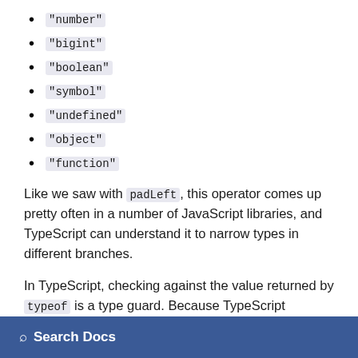"number"
"bigint"
"boolean"
"symbol"
"undefined"
"object"
"function"
Like we saw with padLeft, this operator comes up pretty often in a number of JavaScript libraries, and TypeScript can understand it to narrow types in different branches.
In TypeScript, checking against the value returned by typeof is a type guard. Because TypeScript encodes
Search Docs